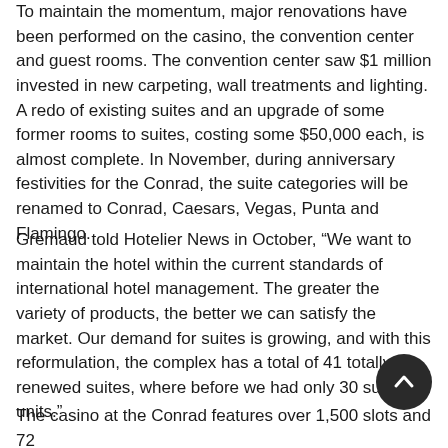To maintain the momentum, major renovations have been performed on the casino, the convention center and guest rooms. The convention center saw $1 million invested in new carpeting, wall treatments and lighting. A redo of existing suites and an upgrade of some former rooms to suites, costing some $50,000 each, is almost complete. In November, during anniversary festivities for the Conrad, the suite categories will be renamed to Conrad, Caesars, Vegas, Punta and Flamingo.
Gremaud told Hotelier News in October, “We want to maintain the hotel within the current standards of international hotel management. The greater the variety of products, the better we can satisfy the market. Our demand for suites is growing, and with this reformulation, the complex has a total of 41 totally renewed suites, where before we had only 30 such units.”
The casino at the Conrad features over 1,500 slots and 72